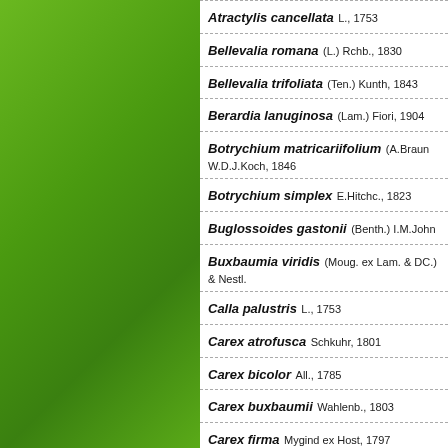Atractylis cancellata L., 1753
Bellevalia romana (L.) Rchb., 1830
Bellevalia trifoliata (Ten.) Kunth, 1843
Berardia lanuginosa (Lam.) Fiori, 1904
Botrychium matricariifolium (A.Braun) W.D.J.Koch, 1846
Botrychium simplex E.Hitchc., 1823
Buglossoides gastonii (Benth.) I.M.Johnst.
Buxbaumia viridis (Moug. ex Lam. & DC.) & Nestl.
Calla palustris L., 1753
Carex atrofusca Schkuhr, 1801
Carex bicolor All., 1785
Carex buxbaumii Wahlenb., 1803
Carex firma Mygind ex Host, 1797
Carex glacialis Mack., 1910